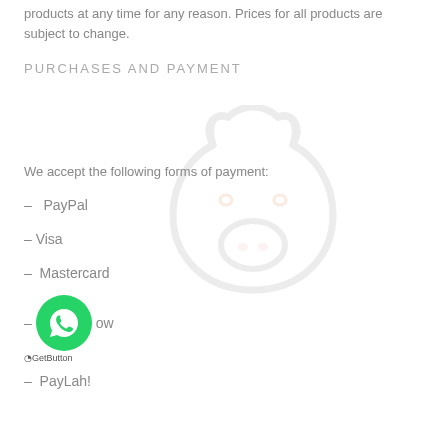products at any time for any reason. Prices for all products are subject to change.
PURCHASES AND PAYMENT
We accept the following forms of payment:
– PayPal
– Visa
– Mastercard
– ...ow
[Figure (logo): Faded pig face watermark illustration in the background]
[Figure (logo): WhatsApp green circle button with phone icon]
GetButton
– PayLah!